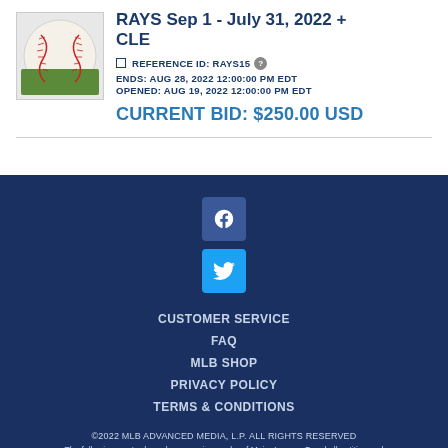[Figure (photo): Baseball on green grass background, official game-used baseball with MLB logo and red stitching]
RAYS Sep 1 - July 31, 2022 + CLE
REFERENCE ID: RAYS15
ENDS: AUG 28, 2022 12:00:00 PM EDT
OPENED: AUG 19, 2022 12:00:00 PM EDT
CURRENT BID: $250.00 USD
CUSTOMER SERVICE
FAQ
MLB SHOP
PRIVACY POLICY
TERMS & CONDITIONS
©2022 MLB ADVANCED MEDIA, L.P. ALL RIGHTS RESERVED
The following are trademarks or service marks of Major League Baseball entities and